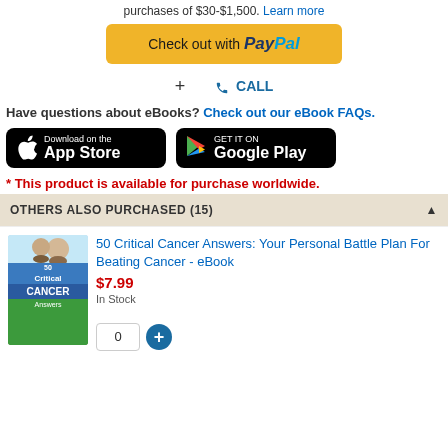purchases of $30-$1,500. Learn more
[Figure (screenshot): PayPal checkout button (yellow/gold background with PayPal logo)]
[Figure (screenshot): Plus sign and phone/CALL icon row]
Have questions about eBooks? Check out our eBook FAQs.
[Figure (screenshot): Download on the App Store button (black)]
[Figure (screenshot): GET IT ON Google Play button (black)]
* This product is available for purchase worldwide.
OTHERS ALSO PURCHASED (15)
50 Critical Cancer Answers: Your Personal Battle Plan For Beating Cancer - eBook
$7.99
In Stock